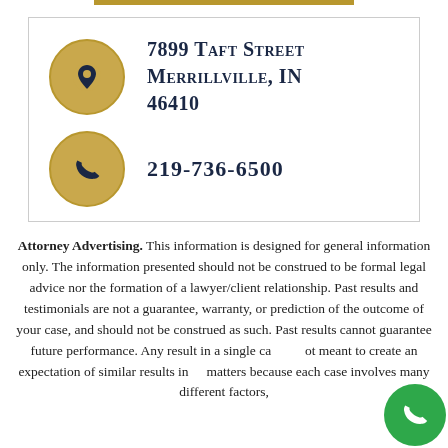[Figure (infographic): Contact info box with address and phone number using gold circular icons on dark navy background]
Attorney Advertising. This information is designed for general information only. The information presented should not be construed to be formal legal advice nor the formation of a lawyer/client relationship. Past results and testimonials are not a guarantee, warranty, or prediction of the outcome of your case, and should not be construed as such. Past results cannot guarantee future performance. Any result in a single case is not meant to create an expectation of similar results in future matters because each case involves many different factors,